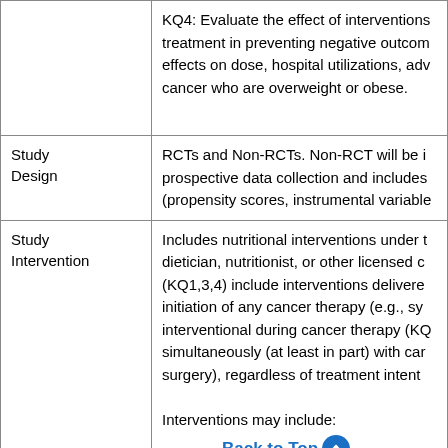|  |  |
| --- | --- |
|  | KQ4: Evaluate the effect of interventions treatment in preventing negative outcom effects on dose, hospital utilizations, adv cancer who are overweight or obese. |
| Study Design | RCTs and Non-RCTs. Non-RCT will be i prospective data collection and includes (propensity scores, instrumental variable |
| Study Intervention | Includes nutritional interventions under t dietician, nutritionist, or other licensed c (KQ1,3,4) include interventions delivere initiation of any cancer therapy (e.g., sy interventional during cancer therapy (KQ simultaneously (at least in part) with car surgery), regardless of treatment intent

Interventions may include:

• Diet or nutrition therapy includes tailo |